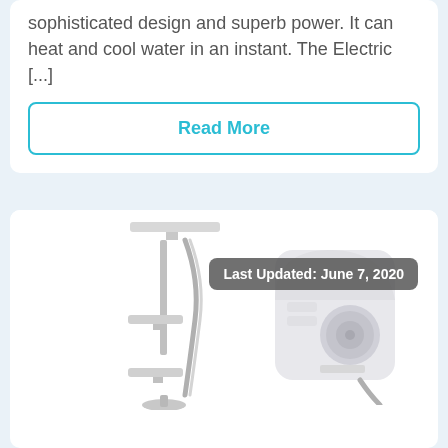sophisticated design and superb power. It can heat and cool water in an instant. The Electric [...]
Read More
[Figure (photo): Electric water heater product photo showing a shower rail/hose assembly on the left and a wall-mounted electric instant water heater unit on the right, both in white/silver colors on a white background.]
Last Updated: June 7, 2020